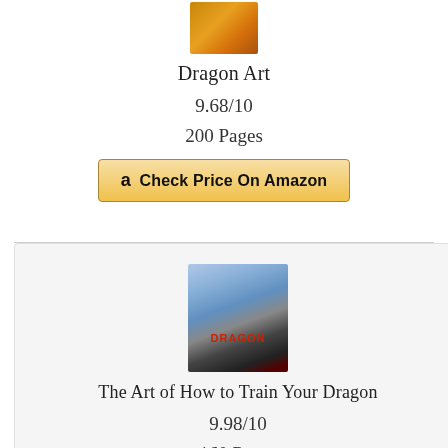[Figure (photo): Book cover thumbnail for Dragon Art]
Dragon Art
9.68/10
200 Pages
Check Price On Amazon
[Figure (photo): Book cover thumbnail for The Art of How to Train Your Dragon]
The Art of How to Train Your Dragon
9.98/10
160 Pages